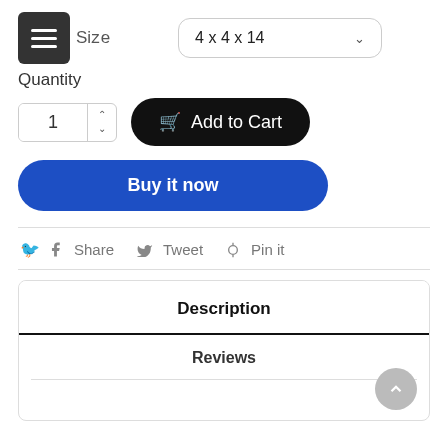Size  4 x 4 x 14
Quantity
1
Add to Cart
Buy it now
Share
Tweet
Pin it
Description
Reviews